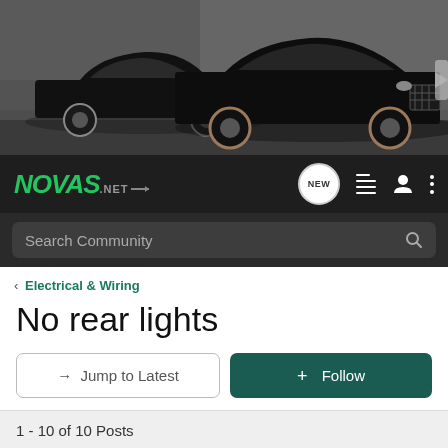[Figure (photo): Two black classic muscle cars (Chevy Novas) parked in a dark garage/industrial setting]
[Figure (logo): NOVAS.NET logo in green italic bold text on dark background navigation bar with icons: NEW bubble, list icon, user icon, dots menu]
Search Community
< Electrical & Wiring
No rear lights
→ Jump to Latest
+ Follow
1 - 10 of 10 Posts
RED67 · Registered
Joined Apr 13, 2006 · 11 Posts